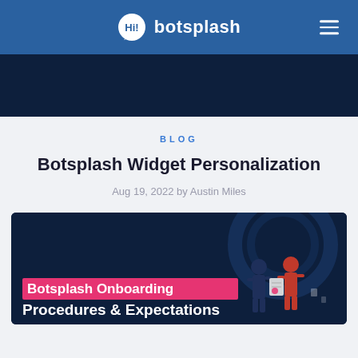botsplash
[Figure (illustration): Dark navy blue image strip, partial view of a hero image]
BLOG
Botsplash Widget Personalization
Aug 19, 2022 by Austin Miles
[Figure (illustration): Dark navy banner with pink highlight text 'Botsplash Onboarding' and white text 'Procedures & Expectations', with cartoon illustration of two people shaking hands on the right side]